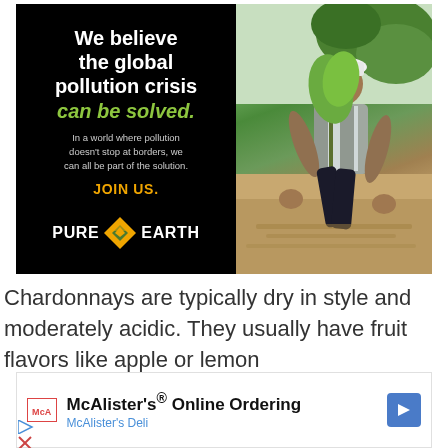[Figure (infographic): Pure Earth advertisement. Left black panel with white bold text 'We believe the global pollution crisis' and green italic 'can be solved.' Sub-text: 'In a world where pollution doesn't stop at borders, we can all be part of the solution.' Gold text 'JOIN US.' Pure Earth logo with diamond icon. Right panel shows photo of person in hardhat planting a sapling.]
Chardonnays are typically dry in style and moderately acidic. They usually have fruit flavors like apple or lemon
[Figure (infographic): McAlister's Deli online ordering advertisement. Shows McA logo in red box, title 'McAlister's® Online Ordering', subtitle 'McAlister's Deli', and blue directional arrow icon on right.]